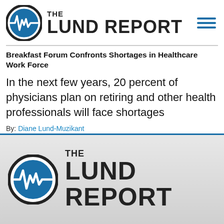[Figure (logo): The Lund Report logo with blue circle containing white lightning bolt/heartbeat symbol, 'THE LUND REPORT' text, and hamburger menu icon]
Breakfast Forum Confronts Shortages in Healthcare Work Force
In the next few years, 20 percent of physicians plan on retiring and other health professionals will face shortages
By: Diane Lund-Muzikant
[Figure (logo): The Lund Report logo large version on grey background - blue circle with white lightning bolt/heartbeat symbol and 'THE LUND REPORT' text]